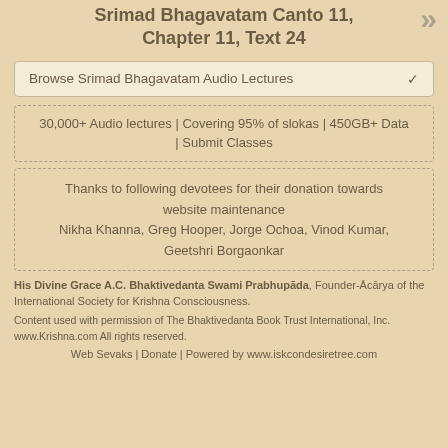Srimad Bhagavatam Canto 11, Chapter 11, Text 24
Browse Srimad Bhagavatam Audio Lectures
30,000+ Audio lectures | Covering 95% of slokas | 450GB+ Data | Submit Classes
Thanks to following devotees for their donation towards website maintenance
Nikha Khanna, Greg Hooper, Jorge Ochoa, Vinod Kumar, Geetshri Borgaonkar
His Divine Grace A.C. Bhaktivedanta Swami Prabhupada, Founder-Acarya of the International Society for Krishna Consciousness.
Content used with permission of The Bhaktivedanta Book Trust International, Inc. www.Krishna.com All rights reserved.
Web Sevaks | Donate | Powered by www.iskcondesiretree.com